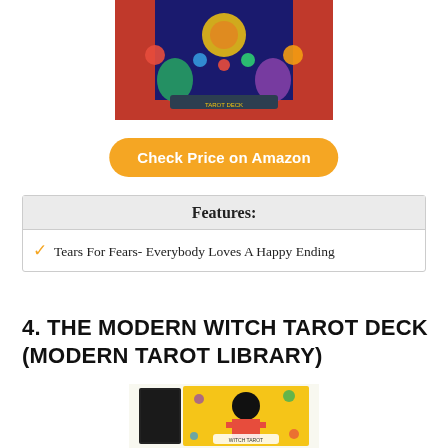[Figure (photo): Colorful tarot card box artwork with circus/fantasy theme, featuring bright colors including red, blue, and gold]
[Figure (other): Orange rounded button labeled 'Check Price on Amazon']
| Features: |
| --- |
| ✓  Tears For Fears- Everybody Loves A Happy Ending |
4. THE MODERN WITCH TAROT DECK (MODERN TAROT LIBRARY)
[Figure (photo): The Modern Witch Tarot Deck box packaging showing a figure with a black flower/hat head in colorful floral style artwork]